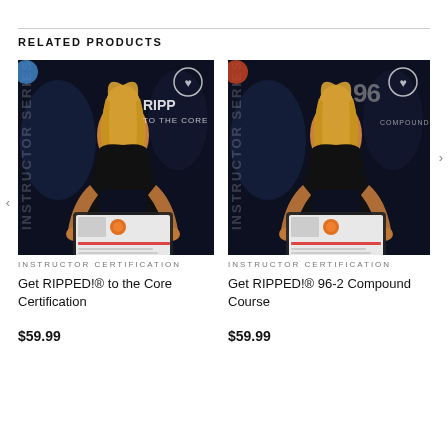RELATED PRODUCTS
[Figure (photo): Fitness instructor product image for 'Get RIPPED!® to the Core Certification' — instructor series dark background with woman in black top, tablet overlay, heart icon, text 'RIPPED TO THE CORE']
INSTRUCTOR CERTIFICATION
Get RIPPED!® to the Core Certification
$59.99
[Figure (photo): Fitness instructor product image for 'Get RIPPED!® 96-2 Compound Course' — instructor series dark background with woman in black top, tablet overlay, heart icon, number 96, text 'COMPOUND']
INSTRUCTOR CERTIFICATION
Get RIPPED!® 96-2 Compound Course
$59.99